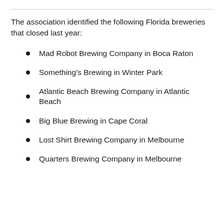The association identified the following Florida breweries that closed last year:
Mad Robot Brewing Company in Boca Raton
Something's Brewing in Winter Park
Atlantic Beach Brewing Company in Atlantic Beach
Big Blue Brewing in Cape Coral
Lost Shirt Brewing Company in Melbourne
Quarters Brewing Company in Melbourne